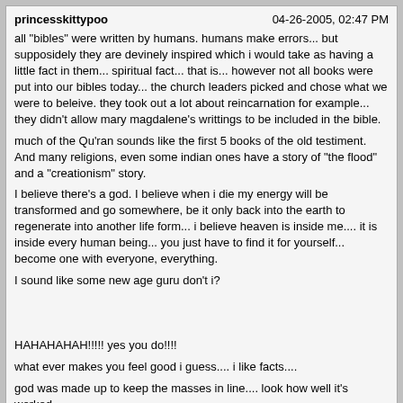princesskittypoo | 04-26-2005, 02:47 PM
all "bibles" were written by humans. humans make errors... but supposidely they are devinely inspired which i would take as having a little fact in them... spiritual fact... that is... however not all books were put into our bibles today... the church leaders picked and chose what we were to beleive. they took out a lot about reincarnation for example... they didn't allow mary magdalene's writtings to be included in the bible.
much of the Qu'ran sounds like the first 5 books of the old testiment. And many religions, even some indian ones have a story of "the flood" and a "creationism" story.
I believe there's a god. I believe when i die my energy will be transformed and go somewhere, be it only back into the earth to regenerate into another life form... i believe heaven is inside me.... it is inside every human being... you just have to find it for yourself... become one with everyone, everything.

I sound like some new age guru don't i?



HAHAHAHAH!!!!! yes you do!!!!

what ever makes you feel good i guess.... i like facts....

god was made up to keep the masses in line.... look how well it's worked...

god makes it so sheeple dont have to think about the tough questions... lol

i agree.

question what are the tough questions to you?
Giggles | 04-26-2005, 07:13 PM
I do believe in God.